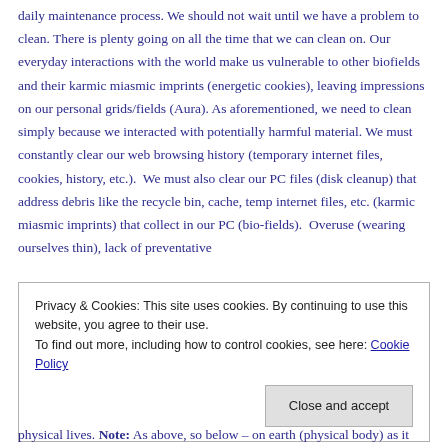daily maintenance process. We should not wait until we have a problem to clean. There is plenty going on all the time that we can clean on. Our everyday interactions with the world make us vulnerable to other biofields and their karmic miasmic imprints (energetic cookies), leaving impressions on our personal grids/fields (Aura). As aforementioned, we need to clean simply because we interacted with potentially harmful material. We must constantly clear our web browsing history (temporary internet files, cookies, history, etc.).  We must also clear our PC files (disk cleanup) that address debris like the recycle bin, cache, temp internet files, etc. (karmic miasmic imprints) that collect in our PC (bio-fields).  Overuse (wearing ourselves thin), lack of preventative
Privacy & Cookies: This site uses cookies. By continuing to use this website, you agree to their use.
To find out more, including how to control cookies, see here: Cookie Policy
[Close and accept]
physical lives. Note: As above, so below – on earth (physical body) as it